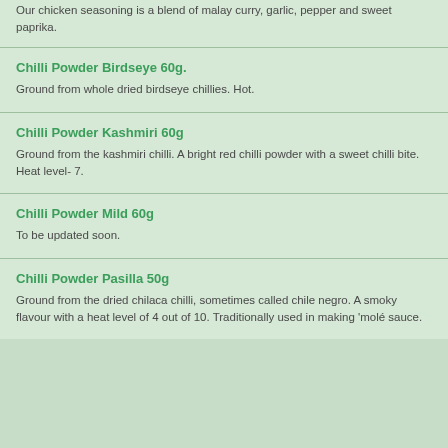Our chicken seasoning is a blend of malay curry, garlic, pepper and sweet paprika.
Chilli Powder Birdseye 60g.
Ground from whole dried birdseye chillies. Hot.
Chilli Powder Kashmiri 60g
Ground from the kashmiri chilli. A bright red chilli powder with a sweet chilli bite. Heat level- 7.
Chilli Powder Mild 60g
To be updated soon.
Chilli Powder Pasilla 50g
Ground from the dried chilaca chilli, sometimes called chile negro. A smoky flavour with a heat level of 4 out of 10. Traditionally used in making 'molé sauce.